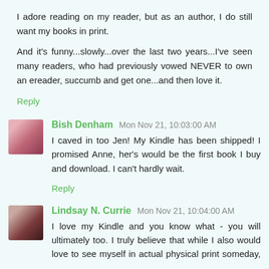I adore reading on my reader, but as an author, I do still want my books in print.
And it's funny...slowly...over the last two years...I've seen many readers, who had previously vowed NEVER to own an ereader, succumb and get one...and then love it.
Reply
Bish Denham  Mon Nov 21, 10:03:00 AM
I caved in too Jen! My Kindle has been shipped! I promised Anne, her's would be the first book I buy and download. I can't hardly wait.
Reply
Lindsay N. Currie  Mon Nov 21, 10:04:00 AM
I love my Kindle and you know what - you will ultimately too. I truly believe that while I also would love to see myself in actual physical print someday, that I read more when the